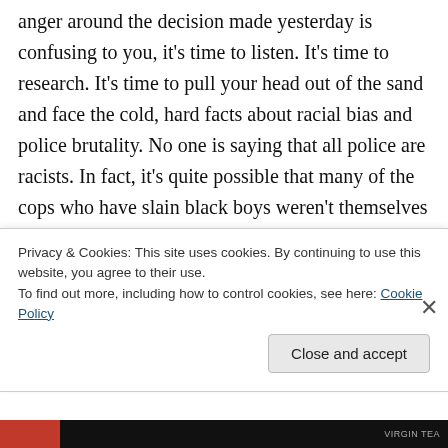anger around the decision made yesterday is confusing to you, it's time to listen. It's time to research. It's time to pull your head out of the sand and face the cold, hard facts about racial bias and police brutality. No one is saying that all police are racists. In fact, it's quite possible that many of the cops who have slain black boys weren't themselves racists by the general definition of the word. But they were living in the context of systemic racism . . . in a country that socializes us to be afraid of black men. Whether we like it or not, society conditions our impulses. We can try to
Privacy & Cookies: This site uses cookies. By continuing to use this website, you agree to their use.
To find out more, including how to control cookies, see here: Cookie Policy
Close and accept